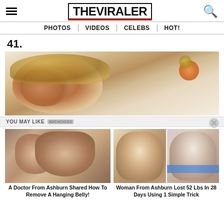THE VIRALER — PHOTOS | VIDEOS | CELEBS | HOT!
41.
[Figure (photo): Main article photo showing a woman lying down with blonde hair and white fabric/bedding around her, and orange flowers on the right side]
YOU MAY LIKE   ADCHOICES
[Figure (photo): Advertisement thumbnail showing a person's midsection/belly area]
A Doctor From Ashburn Shared How To Remove A Hanging Belly!
[Figure (photo): Advertisement thumbnail showing two women side by side in a before/after weight loss comparison, wearing white and blue dresses]
Woman From Ashburn Lost 52 Lbs In 28 Days Using 1 Simple Trick